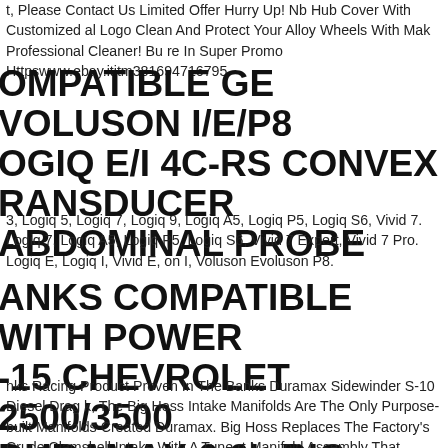t, Please Contact Us Limited Offer Hurry Up! Nb Hub Cover With Customized al Logo Clean And Protect Your Alloy Wheels With Mak Professional Cleaner! Bu re In Super Promo Httpswww.ebay.ititm381694716795.
OMPATIBLE GE VOLUSON I/E/P8 OGIQ E/I 4C-RS CONVEX RANSDUCER ABDOMINAL PROBE
3, Logiq 5, Logiq 7, Logiq 9, Logiq A5, Logiq P5, Logiq S6, Vivid 7. Logiq 7, Logiq A5, Logiq P5, Logiq S6, Vivid 7 Expert, Vivid 7 Pro. Logiq E, Logiq I, Vivid E, on I, Voluson Evoluson P8.
ANKS COMPATIBLE WITH POWER -15 CHEVROLET 2500/3500 DURAMAX 6.6L BIG HOSS
nks Racing Product Proven In The Banks Duramax Sidewinder S-10 Diesel Drag k, The Big Hoss Intake Manifolds Are The Only Purpose-built Manifolds Created Duramax. Big Hoss Replaces The Factory's Crude Clamshell Intake With A Tune rt Manifold Assembly That Provides Tremendous Flow And Uniform Air bution For More Available Power At A Given Boost Level. Includes Twin Plenum folds And Mounting Hardware Fuel System Relocation Plumbing And Hardware t Air Inlet Nipple Fittings For Use At Sanctioned Racing Events Only Racing Intake fold. Natural Finish For 2001-2015 Chevgmc 25003500 6.6l Duramax Part Of T